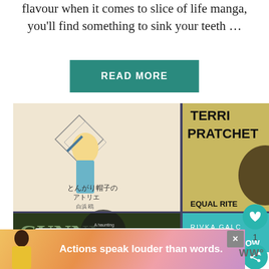flavour when it comes to slice of life manga, you'll find something to sink your teeth …
READ MORE
[Figure (photo): Grid of four book covers: a manga with a blonde character in teal coat (Japanese title), Terry Pratchett 'Equal Rites', a dark green illustrated cover starting with 'CUNN...', and Rivka Galchen 'Everyone Know...']
[Figure (other): Heart/like button (teal circle with heart icon), count of 1, and share button (teal circle with share icon)]
WHAT'S NEXT → Review: Theatre of W...
[Figure (photo): Small circular thumbnail of a book cover (purple/green) for 'Theatre of W...']
[Figure (other): Advertisement banner: person in yellow jacket, text 'Actions speak louder than words.', close X button, and WW logo]